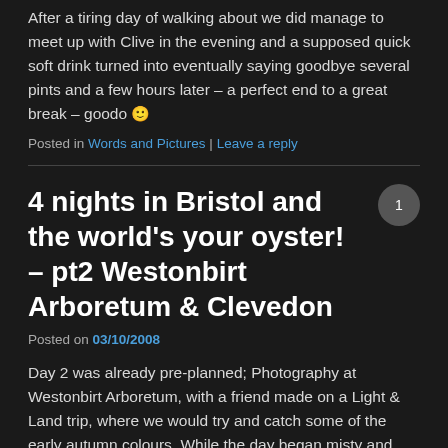After a tiring day of walking about we did manage to meet up with Clive in the evening and a supposed quick soft drink turned into eventually saying goodbye several pints and a few hours later – a perfect end to a great break – goodo 🙂
Posted in Words and Pictures | Leave a reply
4 nights in Bristol and the world's your oyster! – pt2 Westonbirt Arboretum & Clevedon
Posted on 03/10/2008
Day 2 was already pre-planned; Photography at Westonbirt Arboretum, with a friend made on a Light & Land trip, where we would try and catch some of the early autumn colours. While the day began misty and overcast